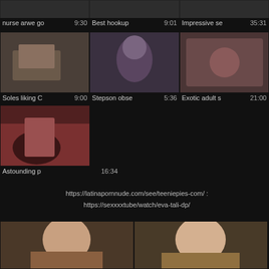[Figure (screenshot): Video thumbnail grid row 1 partial - nurse arwe go 9:30, Best hookup 9:01, Impressive se 35:31]
[Figure (screenshot): Video thumbnail grid row 2 - Soles liking C 9:00, Stepson obse 5:36, Exotic adult s 21:00]
[Figure (screenshot): Video thumbnail row 3 - Astounding p 16:34]
https://latinapornnude.com/see/teeniepies-com/ : https://sexxxxtube/watch/eva-tali-dp/
[Figure (screenshot): Two bottom video thumbnails partially visible]